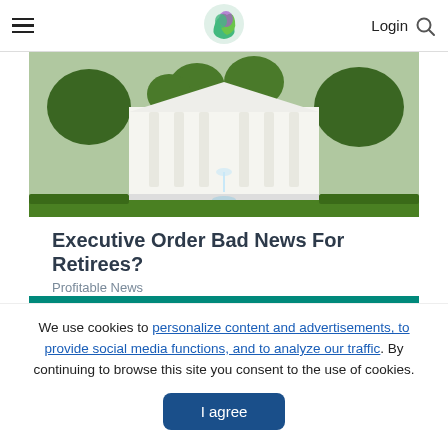centsai | Login
[Figure (photo): White House exterior with columns, fountain, and trees in foreground]
Executive Order Bad News For Retirees?
Profitable News
[Figure (illustration): Green banner with yellow triangle/arrow graphic]
We use cookies to personalize content and advertisements, to provide social media functions, and to analyze our traffic. By continuing to browse this site you consent to the use of cookies.
I agree